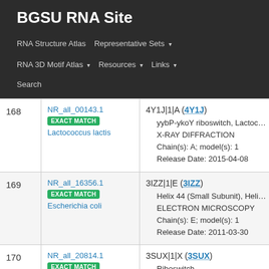BGSU RNA Site
RNA Structure Atlas | Representative Sets ▾ | RNA 3D Motif Atlas ▾ | Resources ▾ | Links ▾ | Search
| # | Representative Set | Details |
| --- | --- | --- |
| 168 | NR_all_00143.1
EXACT MATCH
Lactococcus lactis | 4Y1J|1|A (4Y1J)
• yybP-ykoY riboswitch, Lactococcus lactis
• X-RAY DIFFRACTION
• Chain(s): A; model(s): 1
• Release Date: 2015-04-08 |
| 169 | NR_all_16356.1
EXACT MATCH
Escherichia coli | 3IZZ|1|E (3IZZ)
• Helix 44 (Small Subunit), Helix 44 of 16[...
• ELECTRON MICROSCOPY
• Chain(s): E; model(s): 1
• Release Date: 2011-03-30 |
| 170 | NR_all_20814.1
EXACT MATCH
... | 3SUX|1|X (3SUX)
• Riboswitch
• X-RAY DIFFRACTION |